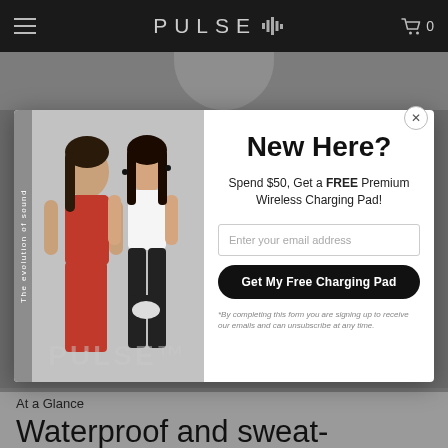PULSE (logo with sound bars icon), hamburger menu, cart icon with 0
[Figure (screenshot): Modal popup overlay on a website. Left side shows two athletic women in sportswear (one in red, one in white) with vertical text 'The evolution of sound' and PULSE watermark. Right side shows email signup form with heading 'New Here?', offer text, email input, and CTA button.]
New Here?
Spend $50, Get a FREE Premium Wireless Charging Pad!
Enter your email address
Get My Free Charging Pad
*By completing this form you are signing up to receive our emails and can unsubscribe at any time.
At a Glance
Waterproof and sweat-